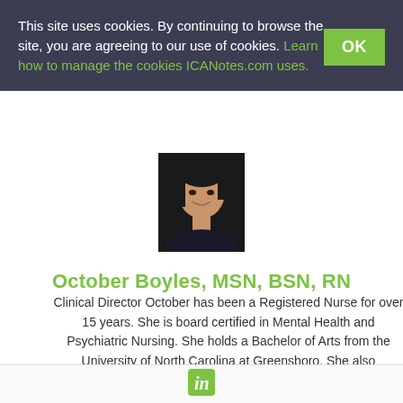This site uses cookies. By continuing to browse the site, you are agreeing to our use of cookies. Learn how to manage the cookies ICANotes.com uses.
[Figure (photo): Headshot photo of October Boyles, a woman with dark hair smiling, wearing dark clothing against a dark background]
October Boyles, MSN, BSN, RN
Clinical Director October has been a Registered Nurse for over 15 years. She is board certified in Mental Health and Psychiatric Nursing. She holds a Bachelor of Arts from the University of North Carolina at Greensboro. She also graduated with bachelor and master degrees in Nursing from Western Governors University.
[Figure (logo): LinkedIn 'in' logo icon in green color]